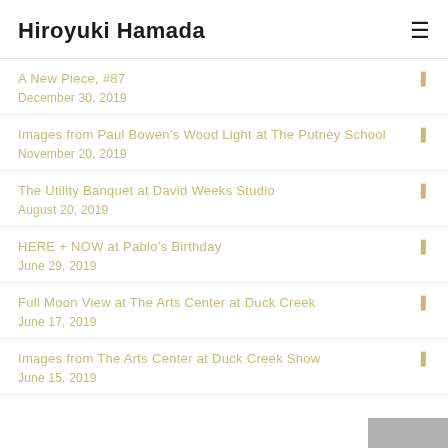Hiroyuki Hamada
A New Piece, #87 | December 30, 2019
Images from Paul Bowen’s Wood Light at The Putney School | November 20, 2019
The Utility Banquet at David Weeks Studio | August 20, 2019
HERE + NOW at Pablo’s Birthday | June 29, 2019
Full Moon View at The Arts Center at Duck Creek | June 17, 2019
Images from The Arts Center at Duck Creek Show | June 15, 2019